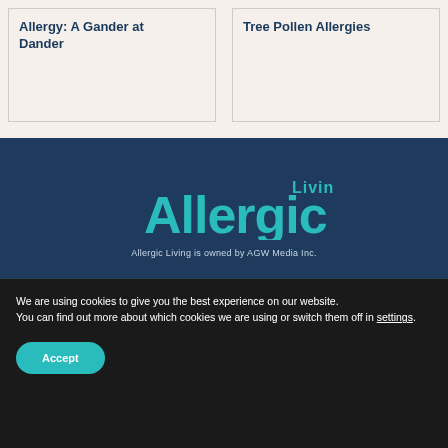Allergy: A Gander at Dander
Tree Pollen Allergies
[Figure (logo): Allergic Living logo with teal text on dark blue background]
Allergic Living is owned by AGW Media Inc.
We are using cookies to give you the best experience on our website.
You can find out more about which cookies we are using or switch them off in settings.
Accept